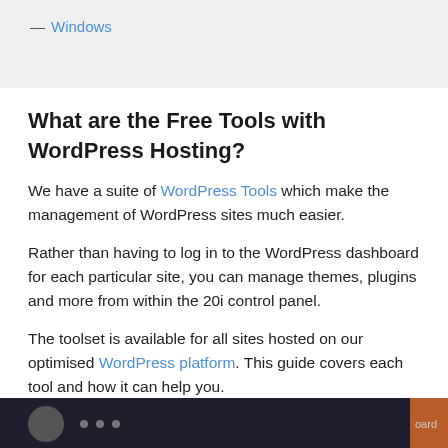— Windows
What are the Free Tools with WordPress Hosting?
We have a suite of WordPress Tools which make the management of WordPress sites much easier.
Rather than having to log in to the WordPress dashboard for each particular site, you can manage themes, plugins and more from within the 20i control panel.
The toolset is available for all sites hosted on our optimised WordPress platform. This guide covers each tool and how it can help you.
[Figure (screenshot): Bottom portion of a screenshot showing a dark control panel interface with an avatar circle and navigation elements, partially cropped. Right side shows an orange panel with text 'oard'.]